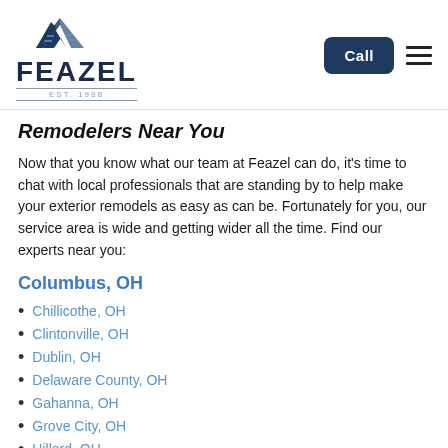[Figure (logo): Feazel logo with roof icon above text, Est. 1988]
Remodelers Near You
Now that you know what our team at Feazel can do, it's time to chat with local professionals that are standing by to help make your exterior remodels as easy as can be. Fortunately for you, our service area is wide and getting wider all the time. Find our experts near you:
Columbus, OH
Chillicothe, OH
Clintonville, OH
Dublin, OH
Delaware County, OH
Gahanna, OH
Grove City, OH
Hillard, OH